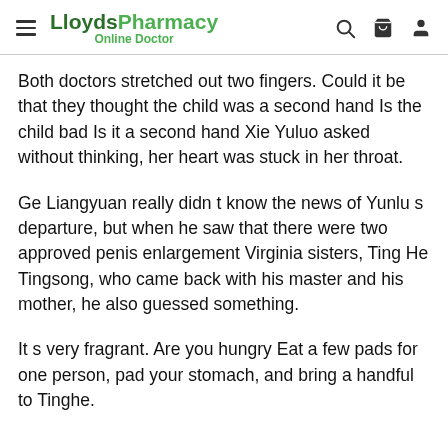LloydsPharmacy Online Doctor
Both doctors stretched out two fingers. Could it be that they thought the child was a second hand Is the child bad Is it a second hand Xie Yuluo asked without thinking, her heart was stuck in her throat.
Ge Liangyuan really didn t know the news of Yunlu s departure, but when he saw that there were two approved penis enlargement Virginia sisters, Ting He Tingsong, who came back with his master and his mother, he also guessed something.
It s very fragrant. Are you hungry Eat a few pads for one person, pad your stomach, and bring a handful to Tinghe.